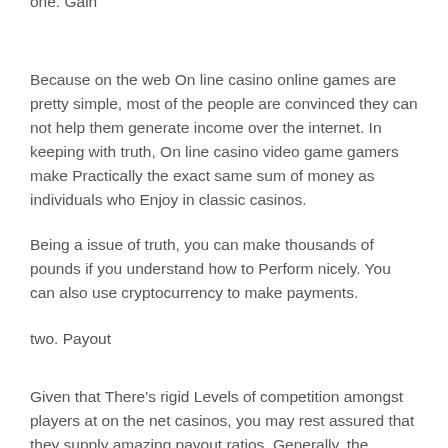one. Gain
Because on the web On line casino online games are pretty simple, most of the people are convinced they can not help them generate income over the internet. In keeping with truth, On line casino video game gamers make Practically the exact same sum of money as individuals who Enjoy in classic casinos.
Being a issue of truth, you can make thousands of pounds if you understand how to Perform nicely. You can also use cryptocurrency to make payments.
two. Payout
Given that There's rigid Levels of competition amongst players at on the net casinos, you may rest assured that they supply amazing payout ratios. Generally, the payout ratio is usually as many as 95% or increased.
Consequently, most gamers go online to Engage in their preferred online games and earn income. Apart from stiff Level of competition, One more